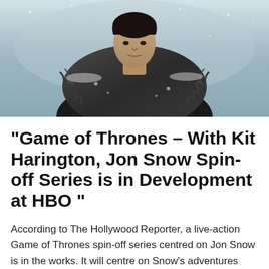[Figure (photo): A person dressed in heavy fur and dark armor (resembling Jon Snow from Game of Thrones) standing in a snowy, wintry outdoor setting. The figure has dark hair and is looking slightly downward against a blurred snowy background.]
“Game of Thrones – With Kit Harington, Jon Snow Spin-off Series is in Development at HBO ”
According to The Hollywood Reporter, a live-action Game of Thrones spin-off series centred on Jon Snow is in the works. It will centre on Snow’s adventures following his exile from Westeros in Game of Thrones